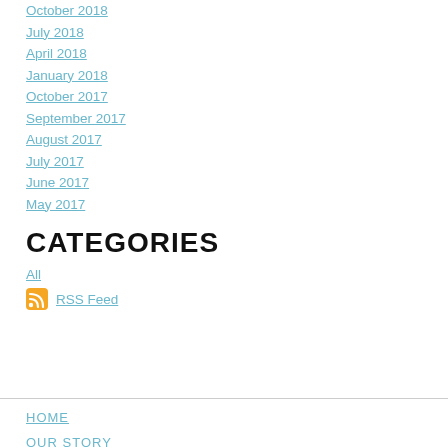October 2018
July 2018
April 2018
January 2018
October 2017
September 2017
August 2017
July 2017
June 2017
May 2017
CATEGORIES
All
RSS Feed
HOME
OUR STORY